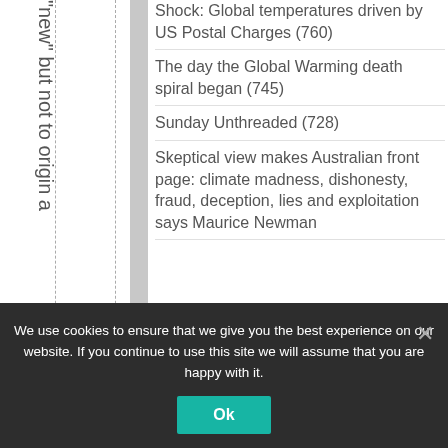"new" but not to origin a
Shock: Global temperatures driven by US Postal Charges (760)
The day the Global Warming death spiral began (745)
Sunday Unthreaded (728)
Skeptical view makes Australian front page: climate madness, dishonesty, fraud, deception, lies and exploitation says Maurice Newman
We use cookies to ensure that we give you the best experience on our website. If you continue to use this site we will assume that you are happy with it.